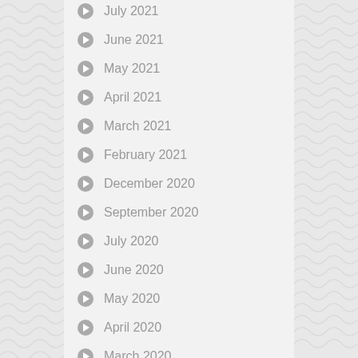July 2021
June 2021
May 2021
April 2021
March 2021
February 2021
December 2020
September 2020
July 2020
June 2020
May 2020
April 2020
March 2020
February 2020
January 2020